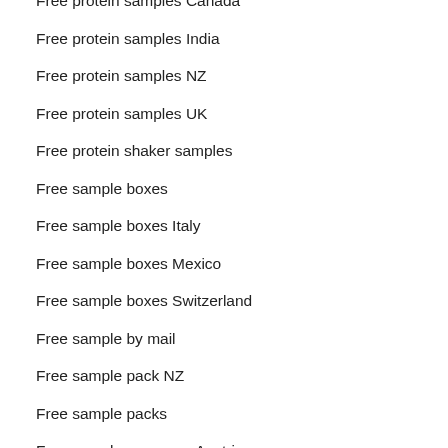Free protein samples Canada
Free protein samples India
Free protein samples NZ
Free protein samples UK
Free protein shaker samples
Free sample boxes
Free sample boxes Italy
Free sample boxes Mexico
Free sample boxes Switzerland
Free sample by mail
Free sample pack NZ
Free sample packs
Free sample programs Austria
Free sample websites